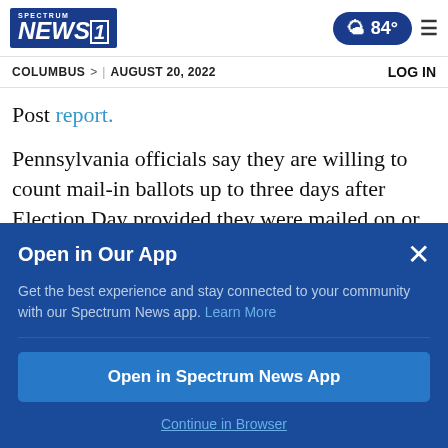Spectrum NEWS1 | 84° ☁️ | ☰
COLUMBUS > | AUGUST 20, 2022 | LOG IN
Post report.
Pennsylvania officials say they are willing to count mail-in ballots up to three days after Election Day provided they were mailed on or before Nov. 3. The extension comes after the
Open in Our App
Get the best experience and stay connected to your community with our Spectrum News app. Learn More
Open in Spectrum News App
Continue in Browser